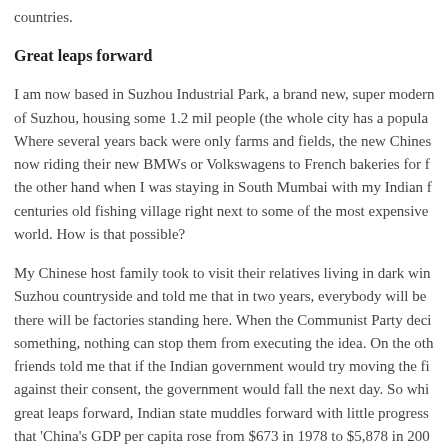countries.
Great leaps forward
I am now based in Suzhou Industrial Park, a brand new, super modern of Suzhou, housing some 1.2 mil people (the whole city has a popula Where several years back were only farms and fields, the new Chines now riding their new BMWs or Volkswagens to French bakeries for f the other hand when I was staying in South Mumbai with my Indian f centuries old fishing village right next to some of the most expensive world. How is that possible?
My Chinese host family took to visit their relatives living in dark win Suzhou countryside and told me that in two years, everybody will be there will be factories standing here. When the Communist Party deci something, nothing can stop them from executing the idea. On the oth friends told me that if the Indian government would try moving the fi against their consent, the government would fall the next day. So whi great leaps forward, Indian state muddles forward with little progress that 'China's GDP per capita rose from $673 in 1978 to $5,878 in 200 number of people living in absolute poverty dropped from roughly 25 to estimated 26 million in 2004.' In India, 'as many as 290 million pe